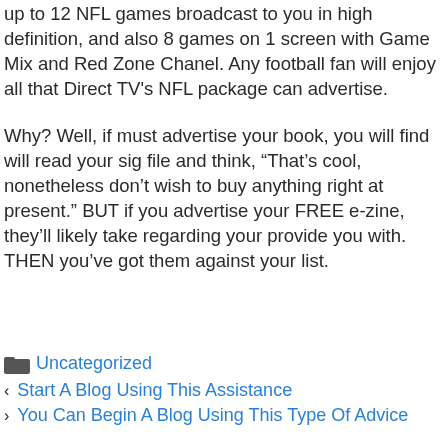up to 12 NFL games broadcast to you in high definition, and also 8 games on 1 screen with Game Mix and Red Zone Chanel. Any football fan will enjoy all that Direct TV's NFL package can advertise.
Why? Well, if must advertise your book, you will find will read your sig file and think, “That’s cool, nonetheless don’t wish to buy anything right at present.” BUT if you advertise your FREE e-zine, they’ll likely take regarding your provide you with. THEN you’ve got them against your list.
Uncategorized
Start A Blog Using This Assistance
You Can Begin A Blog Using This Type Of Advice